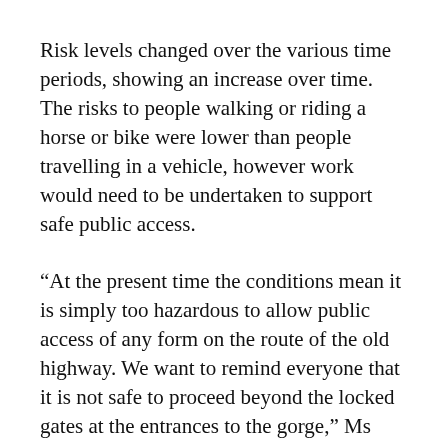Risk levels changed over the various time periods, showing an increase over time. The risks to people walking or riding a horse or bike were lower than people travelling in a vehicle, however work would need to be undertaken to support safe public access.
“At the present time the conditions mean it is simply too hazardous to allow public access of any form on the route of the old highway. We want to remind everyone that it is not safe to proceed beyond the locked gates at the entrances to the gorge,” Ms Downs said.
Ms Downs says Waka Kotahi will continue to work with iwi, LINZ and the different parties responsible for managing parts of the Gorge to progress next steps.
As the old road is no longer required as part of the